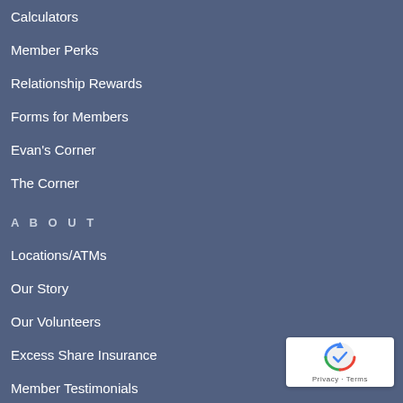Calculators
Member Perks
Relationship Rewards
Forms for Members
Evan's Corner
The Corner
ABOUT
Locations/ATMs
Our Story
Our Volunteers
Excess Share Insurance
Member Testimonials
Get In Touch
[Figure (logo): reCAPTCHA badge with Privacy and Terms links]